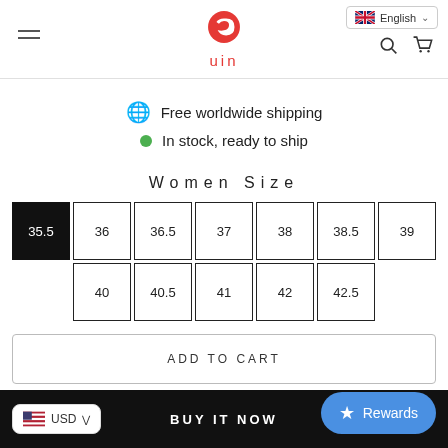English — uin logo — hamburger menu — search and cart icons
Free worldwide shipping
In stock, ready to ship
Women Size
35.5 36 36.5 37 38 38.5 39 40 40.5 41 42 42.5
ADD TO CART
BUY IT NOW
USD
Rewards